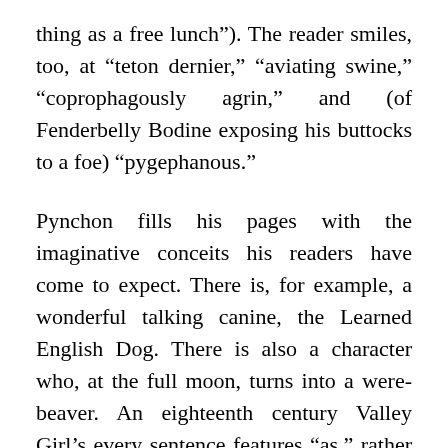thing as a free lunch"). The reader smiles, too, at “teton dernier,” “aviating swine,” “coprophagously agrin,” and (of Fenderbelly Bodine exposing his buttocks to a foe) “pygephanous.”
Pynchon fills his pages with the imaginative conceits his readers have come to expect. There is, for example, a wonderful talking canine, the Learned English Dog. There is also a character who, at the full moon, turns into a were-beaver. An eighteenth century Valley Girl’s every sentence features “as,” rather than the “like” that would characterize the speech of her twentieth century sister. A chef with